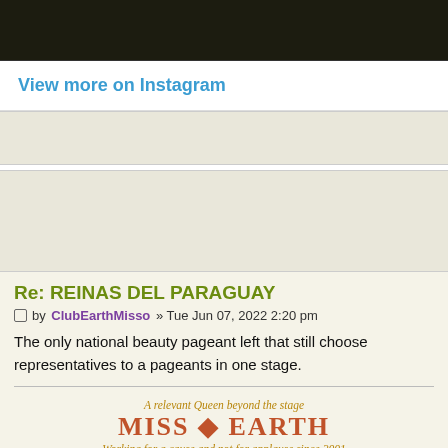[Figure (photo): Dark background image, partially visible at top of page]
View more on Instagram
Re: REINAS DEL PARAGUAY
by ClubEarthMisso » Tue Jun 07, 2022 2:20 pm
The only national beauty pageant left that still choose representatives to a pageants in one stage.
A relevant Queen beyond the stage
MISS ◆ EARTH
Working for a cause and not for applause since 2001